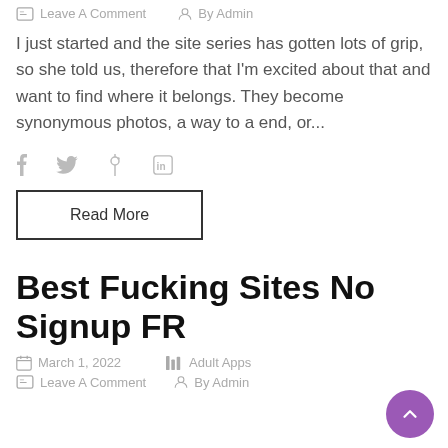Leave A Comment  By Admin
I just started and the site series has gotten lots of grip, so she told us, therefore that I'm excited about that and want to find where it belongs. They become synonymous photos, a way to a end, or...
Social share icons: f  twitter  pinterest  in
Read More
Best Fucking Sites No Signup FR
March 1, 2022  Adult Apps
Leave A Comment  By Admin